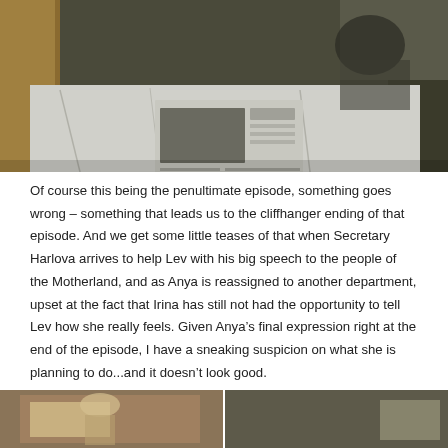[Figure (illustration): Anime screenshot showing a character lying on a bed/table covered with a white sheet, looking at a newspaper or document. Dark, muted colors with curtain visible in background.]
Of course this being the penultimate episode, something goes wrong – something that leads us to the cliffhanger ending of that episode. And we get some little teases of that when Secretary Harlova arrives to help Lev with his big speech to the people of the Motherland, and as Anya is reassigned to another department, upset at the fact that Irina has still not had the opportunity to tell Lev how she really feels. Given Anya's final expression right at the end of the episode, I have a sneaking suspicion on what she is planning to do...and it doesn't look good.
[Figure (illustration): Anime screenshot showing partial view of characters, cropped at bottom of page.]